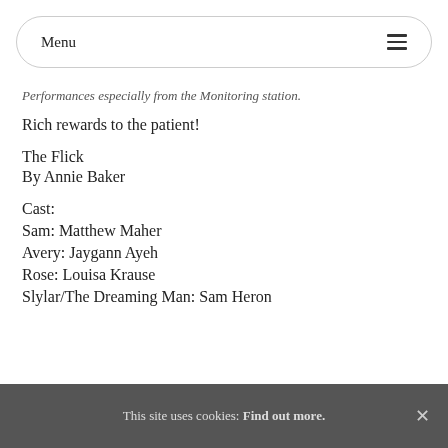Menu
Performances especially from the Monitoring station.
Rich rewards to the patient!
The Flick
By Annie Baker
Cast:
Sam: Matthew Maher
Avery: Jaygann Ayeh
Rose: Louisa Krause
Slylar/The Dreaming Man: Sam Heron
This site uses cookies: Find out more. ×